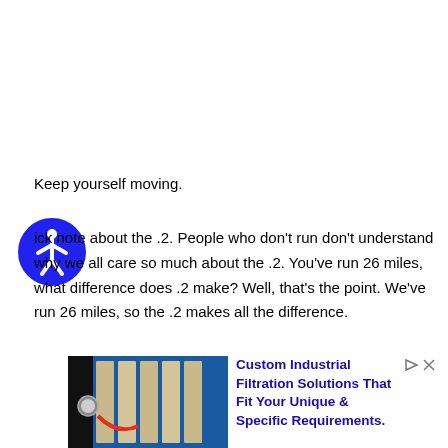Keep yourself moving.
ick note about the .2. People who don't run don't understand why we all care so much about the .2. You've run 26 miles, what difference does .2 make? Well, that's the point. We've run 26 miles, so the .2 makes all the difference.
[Figure (illustration): Blue circular accessibility icon with white stick figure person]
[Figure (photo): Industrial filtration equipment with blue metal frame and filter bags]
Custom Industrial Filtration Solutions That Fit Your Unique & Specific Requirements.
Ad